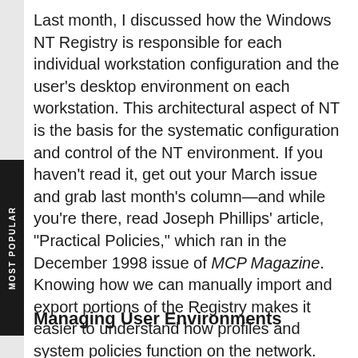Last month, I discussed how the Windows NT Registry is responsible for each individual workstation configuration and the user's desktop environment on each workstation. This architectural aspect of NT is the basis for the systematic configuration and control of the NT environment. If you haven't read it, get out your March issue and grab last month's column—and while you're there, read Joseph Phillips' article, "Practical Policies," which ran in the December 1998 issue of MCP Magazine. Knowing how we can manually import and export portions of the Registry makes it easier to understand how profiles and system policies function on the network.
Managing User Environments